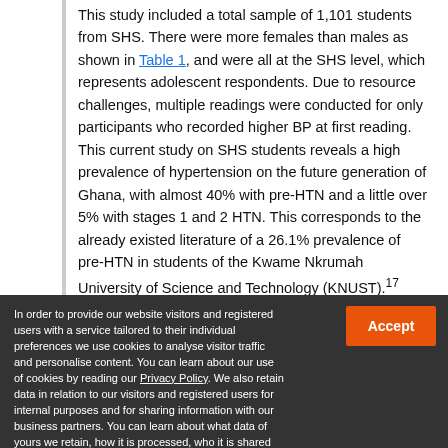This study included a total sample of 1,101 students from SHS. There were more females than males as shown in Table 1, and were all at the SHS level, which represents adolescent respondents. Due to resource challenges, multiple readings were conducted for only participants who recorded higher BP at first reading. This current study on SHS students reveals a high prevalence of hypertension on the future generation of Ghana, with almost 40% with pre-HTN and a little over 5% with stages 1 and 2 HTN. This corresponds to the already existed literature of a 26.1% prevalence of pre-HTN in students of the Kwame Nkrumah University of Science and Technology (KNUST).17 Although
In order to provide our website visitors and registered users with a service tailored to their individual preferences we use cookies to analyse visitor traffic and personalise content. You can learn about our use of cookies by reading our Privacy Policy. We also retain data in relation to our visitors and registered users for internal purposes and for sharing information with our business partners. You can learn about what data of yours we retain, how it is processed, who it is shared with and your right to have your data deleted by reading our Privacy Policy. If you agree to our use of cookies and the contents of our Privacy Policy please click 'accept'.